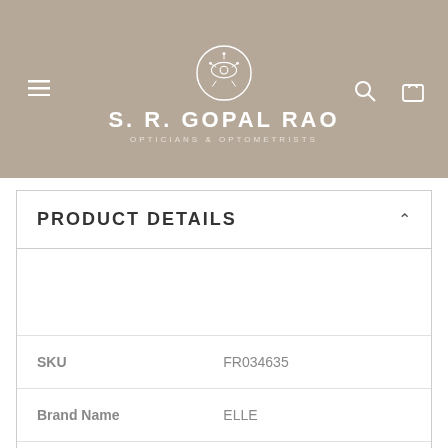S. R. GOPAL RAO OPTICIANS & OPTOMETRISTS
PRODUCT DETAILS
| Field | Value |
| --- | --- |
| SKU | FR034635 |
| Brand Name | ELLE |
| Model Number | EL13486 |
| Colour Code | BK |